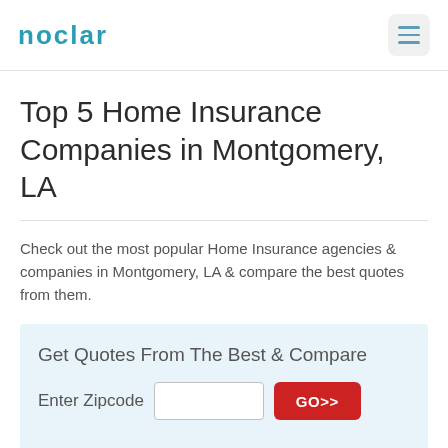NOCLAR
Top 5 Home Insurance Companies in Montgomery, LA
Check out the most popular Home Insurance agencies & companies in Montgomery, LA & compare the best quotes from them.
Get Quotes From The Best & Compare
Enter Zipcode  GO>>